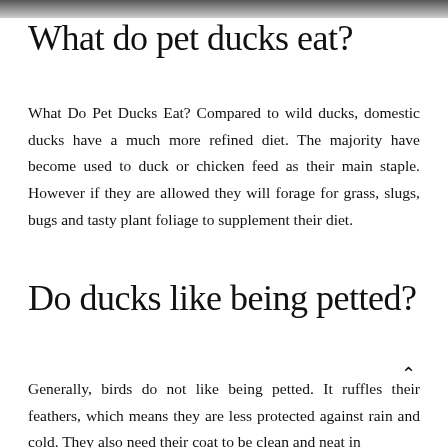[Figure (photo): Partial photo strip at top of page, appears to show ducks or animals, cropped]
What do pet ducks eat?
What Do Pet Ducks Eat? Compared to wild ducks, domestic ducks have a much more refined diet. The majority have become used to duck or chicken feed as their main staple. However if they are allowed they will forage for grass, slugs, bugs and tasty plant foliage to supplement their diet.
Do ducks like being petted?
Generally, birds do not like being petted. It ruffles their feathers, which means they are less protected against rain and cold. They also need their coat to be clean and neat in